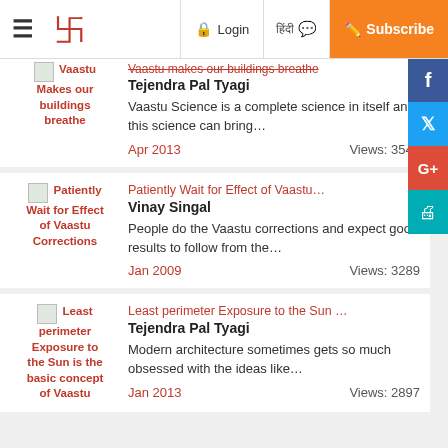Navigation bar with hamburger menu, logo, Login, Hindi toggle, Subscribe button
Vaastu Makes our buildings breathe — Tejendra Pal Tyagi. Vaastu Science is a complete science in itself and this science can bring… Apr 2013. Views: 3541
Patiently Wait for Effect of Vaastu… — Vinay Singal. People do the Vaastu corrections and expect good results to follow from the… Jan 2009. Views: 3289
Least perimeter Exposure to the Sun … — Tejendra Pal Tyagi. Modern architecture sometimes gets so much obsessed with the ideas like… Jan 2013. Views: 2897